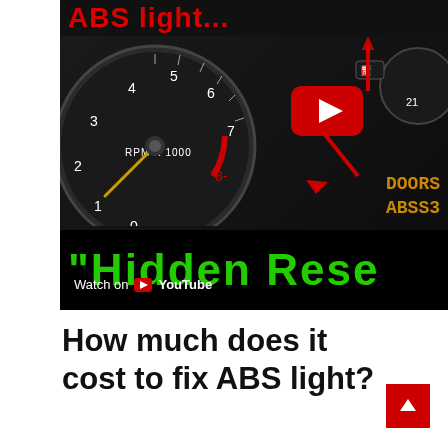[Figure (screenshot): YouTube video thumbnail showing a car dashboard with tachometer (RPM X 1000 gauge), with red arrows pointing to indicator lights, YouTube play button overlay, text 'DOORS' and 'ABSS3' on dashboard display, and green bold text 'Hidden Rese...' overlaid on black bar at bottom. Red text 'ABS light...' partially visible at top.]
How much does it cost to fix ABS light?